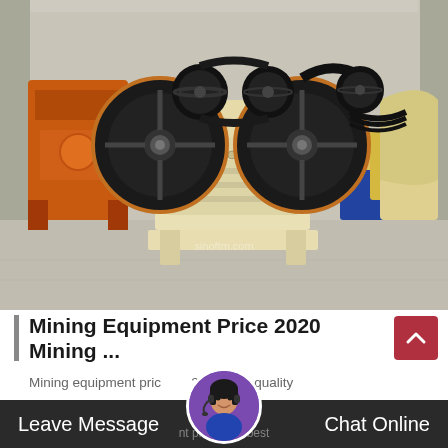[Figure (photo): Outdoor photograph of a large jaw crusher machine (cream/beige colored) with black flywheel pulleys on both sides, set in a yard with other orange and yellow mining equipment visible in background, against a concrete wall.]
Mining Equipment Price 2020 Mining ...
Mining equipment price 2020 high quality
Leave Message
nt pric ts in best
Chat Online